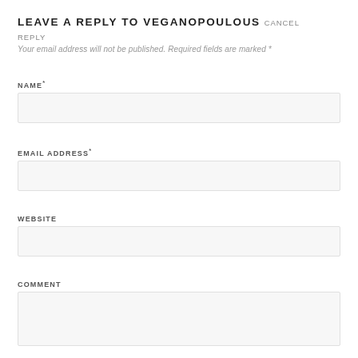LEAVE A REPLY TO VEGANOPOULOUS CANCEL REPLY
Your email address will not be published. Required fields are marked *
NAME*
EMAIL ADDRESS*
WEBSITE
COMMENT